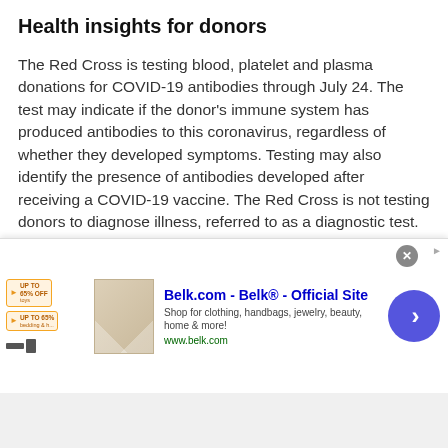Health insights for donors
The Red Cross is testing blood, platelet and plasma donations for COVID-19 antibodies through July 24. The test may indicate if the donor's immune system has produced antibodies to this coronavirus, regardless of whether they developed symptoms. Testing may also identify the presence of antibodies developed after receiving a COVID-19 vaccine. The Red Cross is not testing donors to diagnose illness, referred to as a diagnostic test. To protect the health and safety of Red Cross staff and donors, it is important that individuals who do not feel well or believe they may be ill with COVID-19 postpone donation.
At a time when health information has never been more
[Figure (screenshot): Advertisement banner for Belk.com - Belk® Official Site. Shows text 'Belk.com - Belk® - Official Site', 'Shop for clothing, handbags, jewelry, beauty, home & more!', 'www.belk.com', with a product image thumbnail, sale pill badges, a close (X) button, and a blue circular arrow navigation button.]